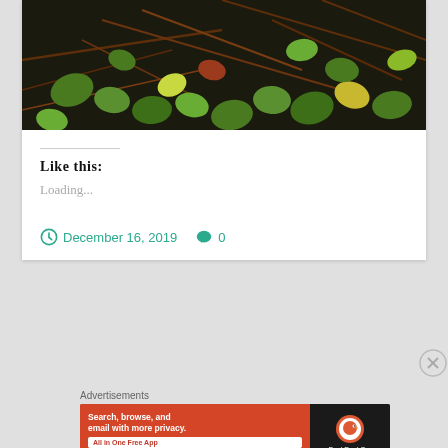[Figure (photo): Photo of green leaves and brown twigs/vines on dark soil, partially visible at top of page]
Like this:
Loading...
December 16, 2019   0
Advertisements
[Figure (screenshot): DuckDuckGo advertisement banner on orange background reading 'Search, browse, and email with more privacy. All in One Free App' with a phone image and DuckDuckGo logo]